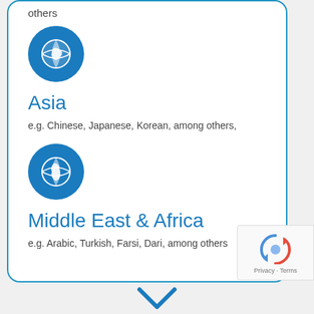others
[Figure (illustration): Blue circle icon with white globe showing Asia region]
Asia
e.g. Chinese, Japanese, Korean, among others,
[Figure (illustration): Blue circle icon with white globe showing Middle East and Africa region]
Middle East & Africa
e.g. Arabic, Turkish, Farsi, Dari, among others
[Figure (logo): Google reCAPTCHA badge with Privacy and Terms links]
[Figure (illustration): Blue chevron/arrow pointing down]